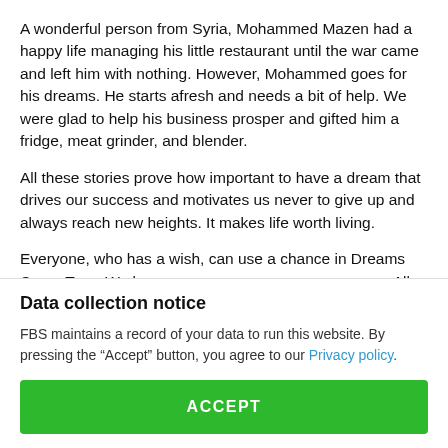A wonderful person from Syria, Mohammed Mazen had a happy life managing his little restaurant until the war came and left him with nothing. However, Mohammed goes for his dreams. He starts afresh and needs a bit of help. We were glad to help his business prosper and gifted him a fridge, meat grinder, and blender.
All these stories prove how important to have a dream that drives our success and motivates us never to give up and always reach new heights. It makes life worth living.
Everyone, who has a wish, can use a chance in Dreams Come True. We b…
Data collection notice
FBS maintains a record of your data to run this website. By pressing the “Accept” button, you agree to our Privacy policy.
ACCEPT